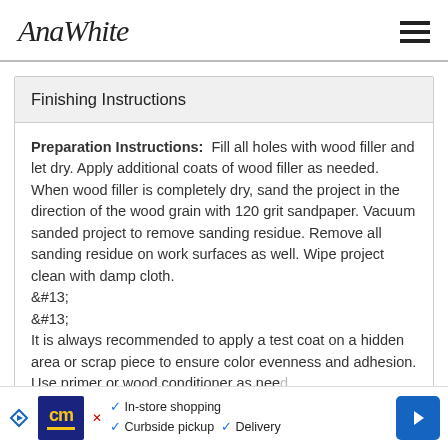AnaWhite
Finishing Instructions
Preparation Instructions: Fill all holes with wood filler and let dry. Apply additional coats of wood filler as needed. When wood filler is completely dry, sand the project in the direction of the wood grain with 120 grit sandpaper. Vacuum sanded project to remove sanding residue. Remove all sanding residue on work surfaces as well. Wipe project clean with damp cloth.
&#13;
&#13;
It is always recommended to apply a test coat on a hidden area or scrap piece to ensure color evenness and adhesion. Use primer or wood conditioner as need
[Figure (infographic): Advertisement bar showing CM store logo, in-store shopping, curbside pickup, and delivery options with navigation arrow]